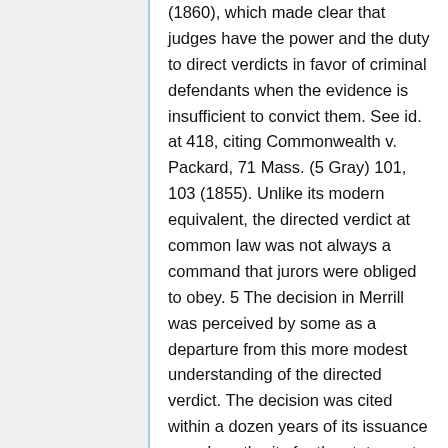(1860), which made clear that judges have the power and the duty to direct verdicts in favor of criminal defendants when the evidence is insufficient to convict them. See id. at 418, citing Commonwealth v. Packard, 71 Mass. (5 Gray) 101, 103 (1855). Unlike its modern equivalent, the directed verdict at common law was not always a command that jurors were obliged to obey. 5 The decision in Merrill was perceived by some as a departure from this more modest understanding of the directed verdict. The decision was cited within a dozen years of its issuance as sole authority for the statement that, "although as a general proposition the sufficiency of the evidence is for the jury, yet, if it is found not to cover every part of the case, the court will, as matter of